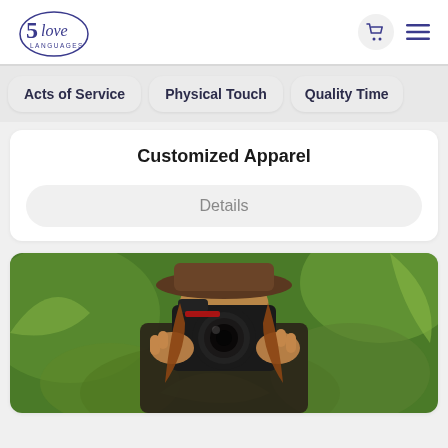[Figure (logo): 5 Love Languages logo — stylized oval with script text '5 love LANGUAGES']
[Figure (infographic): Shopping cart icon in purple/navy]
[Figure (infographic): Hamburger menu icon (three horizontal lines) in purple/navy]
Acts of Service
Physical Touch
Quality Time
Customized Apparel
Details
[Figure (photo): Woman holding a DSLR camera up to her face, wearing a brown hat, with green leaves in the background]